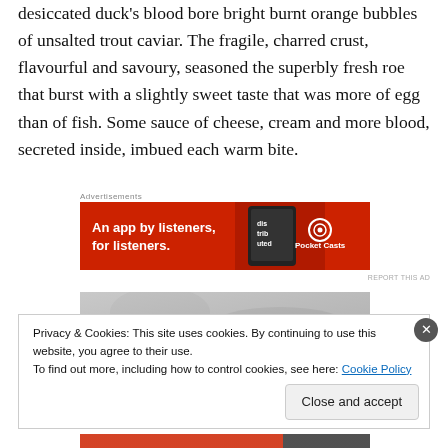desiccated duck's blood bore bright burnt orange bubbles of unsalted trout caviar. The fragile, charred crust, flavourful and savoury, seasoned the superbly fresh roe that burst with a slightly sweet taste that was more of egg than of fish. Some sauce of cheese, cream and more blood, secreted inside, imbued each warm bite.
Advertisements
[Figure (other): Pocket Casts advertisement banner. Red background with text 'An app by listeners, for listeners.' and Pocket Casts logo with a smartphone image and text 'dis-trib-uted'.]
[Figure (photo): Partial image of food dish, grey/silver tones visible at top.]
Privacy & Cookies: This site uses cookies. By continuing to use this website, you agree to their use.
To find out more, including how to control cookies, see here: Cookie Policy